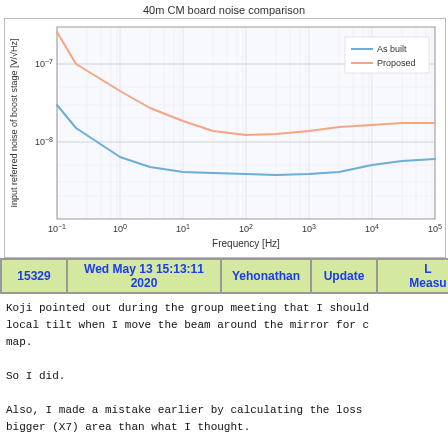[Figure (continuous-plot): Log-log plot showing input referred noise of boost stage [V/sqrt(Hz)] vs Frequency [Hz]. Two curves: 'As built' (blue) starting around 3e-8 at 0.1 Hz, decreasing to minimum ~3e-9 around 100 Hz, then rising slightly to ~6e-9 at 1e5 Hz. 'Proposed' (red/pink) starting above 1e-7 at 0.1 Hz, decreasing to minimum ~8e-9 around 100 Hz, then leveling off ~1.2e-8 at 1e5 Hz.]
| 15329 | Wed May 13 15:13:11 2020 | Yehonathan | Update | L Measu... |
| --- | --- | --- | --- | --- |
Koji pointed out during the group meeting that I should local tilt when I move the beam around the mirror for c map.

So I did.

Also, I made a mistake earlier by calculating the loss bigger (X7) area than what I thought.

Both these mistakes made it seem like the loss is very